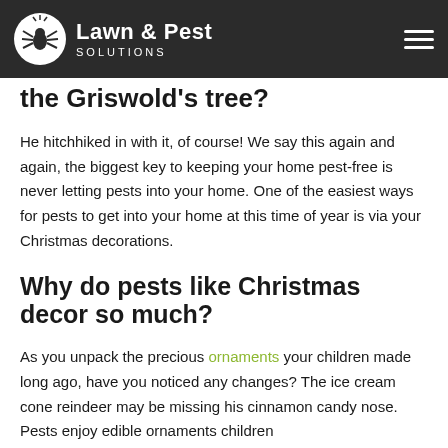Lawn & Pest SOLUTIONS
So how did that squirrel get into the Griswold's tree?
He hitchhiked in with it, of course! We say this again and again, the biggest key to keeping your home pest-free is never letting pests into your home. One of the easiest ways for pests to get into your home at this time of year is via your Christmas decorations.
Why do pests like Christmas decor so much?
As you unpack the precious ornaments your children made long ago, have you noticed any changes? The ice cream cone reindeer may be missing his cinnamon candy nose. Pests enjoy edible ornaments children